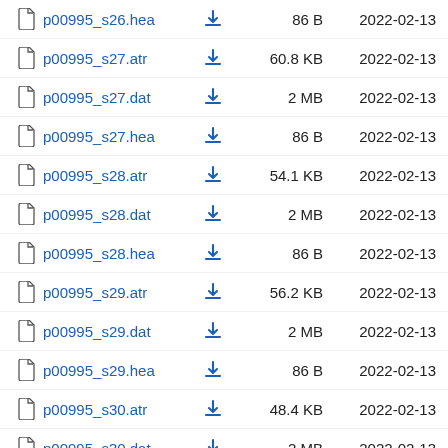p00995_s26.hea  86 B  2022-02-13
p00995_s27.atr  60.8 KB  2022-02-13
p00995_s27.dat  2 MB  2022-02-13
p00995_s27.hea  86 B  2022-02-13
p00995_s28.atr  54.1 KB  2022-02-13
p00995_s28.dat  2 MB  2022-02-13
p00995_s28.hea  86 B  2022-02-13
p00995_s29.atr  56.2 KB  2022-02-13
p00995_s29.dat  2 MB  2022-02-13
p00995_s29.hea  86 B  2022-02-13
p00995_s30.atr  48.4 KB  2022-02-13
p00995_s30.dat  2 MB  2022-02-13
p00995_s30.hea  87 B  2022-02-13
p00995_s31.atr  49.1 KB  2022-02-13